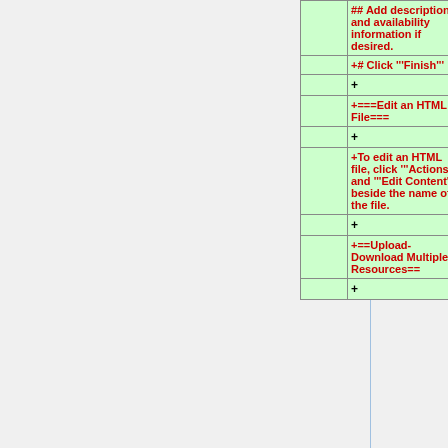|  |  |
| --- | --- |
|  | +## Add description
and availability
information if
desired. |
|  | +# Click '''Finish''' |
|  | + |
|  | +=== Edit an HTML
File=== |
|  | + |
|  | +To edit an HTML
file, click '''Actions'''
and '''Edit Content'''
beside the name of
the file. |
|  | + |
|  | +==Upload-
Download Multiple
Resources== |
|  | + |